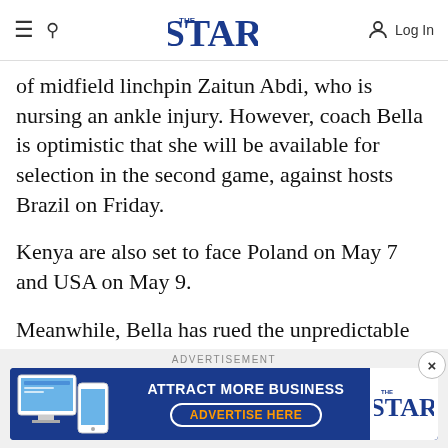THE STAR — Log In
of midfield linchpin Zaitun Abdi, who is nursing an ankle injury. However, coach Bella is optimistic that she will be available for selection in the second game, against hosts Brazil on Friday.
Kenya are also set to face Poland on May 7 and USA on May 9.
Meanwhile, Bella has rued the unpredictable weather in Brazil.
[Figure (infographic): Advertisement banner for The Star newspaper: 'ATTRACT MORE BUSINESS — ADVERTISE HERE' with The Star logo and device images on the left.]